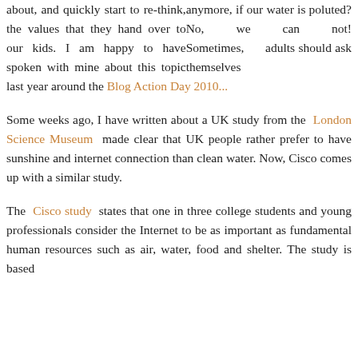anymore, if our water is poluted? No, we can not! Sometimes, adults should ask themselves about, and quickly start to re-think, the values that they hand over to our kids. I am happy to have spoken with mine about this topic last year around the Blog Action Day 2010...
Some weeks ago, I have written about a UK study from the London Science Museum made clear that UK people rather prefer to have sunshine and internet connection than clean water. Now, Cisco comes up with a similar study.
The Cisco study states that one in three college students and young professionals consider the Internet to be as important as fundamental human resources such as air, water, food and shelter. The study is based